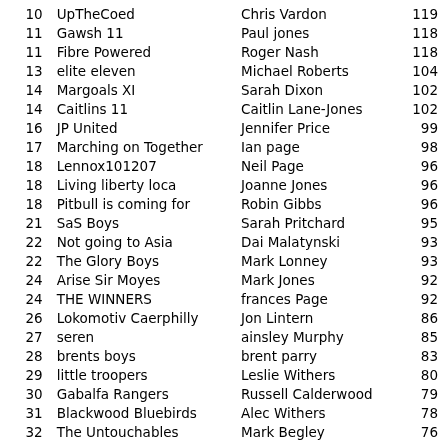| Pos | Team | Manager | Points |
| --- | --- | --- | --- |
| 10 | UpTheCoed | Chris Vardon | 119 |
| 11 | Gawsh 11 | Paul jones | 118 |
| 11 | Fibre Powered | Roger Nash | 118 |
| 13 | elite eleven | Michael Roberts | 104 |
| 14 | Margoals XI | Sarah Dixon | 102 |
| 14 | Caitlins 11 | Caitlin Lane-Jones | 102 |
| 16 | JP United | Jennifer Price | 99 |
| 17 | Marching on Together | Ian page | 98 |
| 18 | Lennox101207 | Neil Page | 96 |
| 18 | Living liberty loca | Joanne Jones | 96 |
| 18 | Pitbull is coming for | Robin Gibbs | 96 |
| 21 | SaS Boys | Sarah Pritchard | 95 |
| 22 | Not going to Asia | Dai Malatynski | 93 |
| 22 | The Glory Boys | Mark Lonney | 93 |
| 24 | Arise Sir Moyes | Mark Jones | 92 |
| 24 | THE WINNERS | frances Page | 92 |
| 26 | Lokomotiv Caerphilly | Jon Lintern | 86 |
| 27 | seren | ainsley Murphy | 85 |
| 28 | brents boys | brent parry | 83 |
| 29 | little troopers | Leslie Withers | 80 |
| 30 | Gabalfa Rangers | Russell Calderwood | 79 |
| 31 | Blackwood Bluebirds | Alec Withers | 78 |
| 32 | The Untouchables | Mark Begley | 76 |